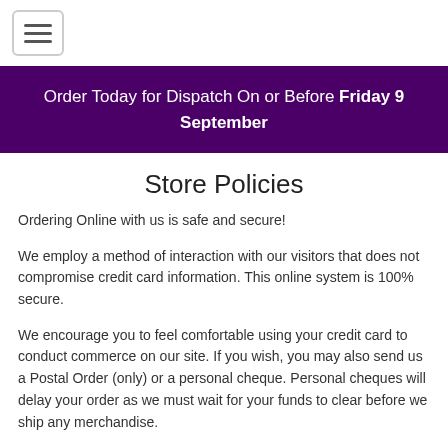[Figure (other): Hamburger menu icon button with three horizontal lines inside a rounded rectangle border]
Order Today for Dispatch On or Before Friday 9 September
Store Policies
Ordering Online with us is safe and secure!
We employ a method of interaction with our visitors that does not compromise credit card information. This online system is 100% secure.
We encourage you to feel comfortable using your credit card to conduct commerce on our site. If you wish, you may also send us a Postal Order (only) or a personal cheque. Personal cheques will delay your order as we must wait for your funds to clear before we ship any merchandise.
Please allow an additional 7-10 business days for shipping of your merchandise if paid by personal check. To order by cheque, just print the order form with your shopping cart contents from the